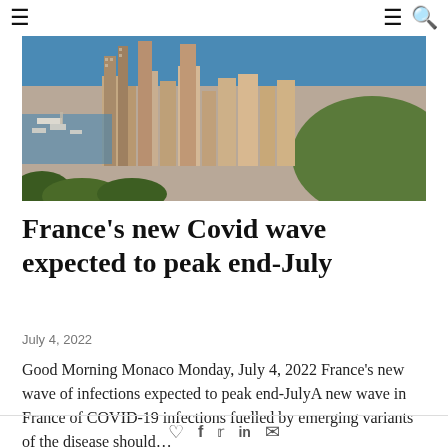≡   ≡ 🔍
[Figure (photo): Aerial view of Monaco showing high-rise buildings, the harbor with boats, blue sea water, and dense urban landscape with trees in the foreground.]
France's new Covid wave expected to peak end-July
July 4, 2022
Good Morning Monaco Monday, July 4, 2022 France's new wave of infections expected to peak end-JulyA new wave in France of COVID-19 infections fuelled by emerging variants of the disease should…
♡  f  🐦  in  ✉